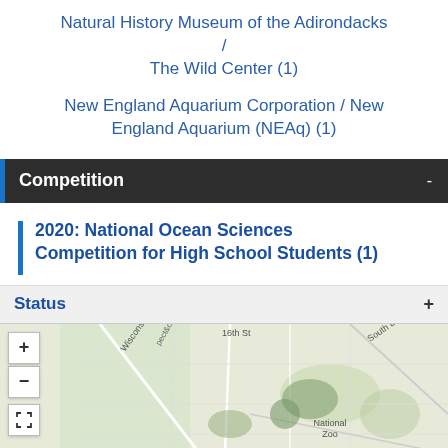Natural History Museum of the Adirondacks / The Wild Center (1)
New England Aquarium Corporation / New England Aquarium (NEAq) (1)
Competition
2020: National Ocean Sciences Competition for High School Students (1)
Status
[Figure (map): An interactive street map showing the area around National Zoo, Washington DC, with streets including Wisconsin Ave NW, 16th St, and South Dakota Ave NE. Map controls (zoom in, zoom out, expand) are visible in the upper left corner.]